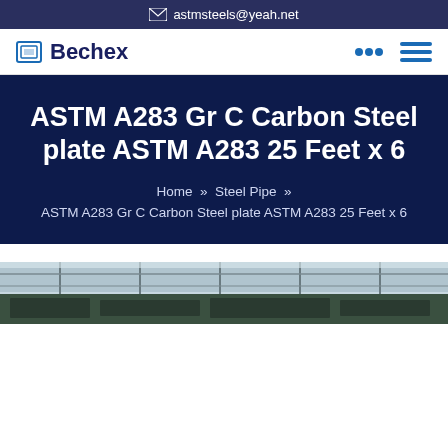astmsteels@yeah.net
Bechex
ASTM A283 Gr C Carbon Steel plate ASTM A283 25 Feet x 6
Home » Steel Pipe » ASTM A283 Gr C Carbon Steel plate ASTM A283 25 Feet x 6
[Figure (photo): Photograph of a steel warehouse or industrial facility interior, showing steel plates or pipes stored inside a large structure with roof trusses visible]